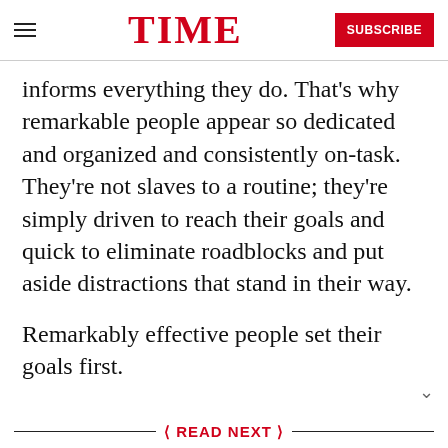TIME | SUBSCRIBE
informs everything they do. That’s why remarkable people appear so dedicated and organized and consistently on-task. They’re not slaves to a routine; they’re simply driven to reach their goals and quick to eliminate roadblocks and put aside distractions that stand in their way.
Remarkably effective people set their goals first.
READ NEXT
[Figure (photo): A photo showing a question mark drawn on wood with a keyboard in the corner]
3 Questions to Ask When You Don’t Know What You Want to Do With Your Life